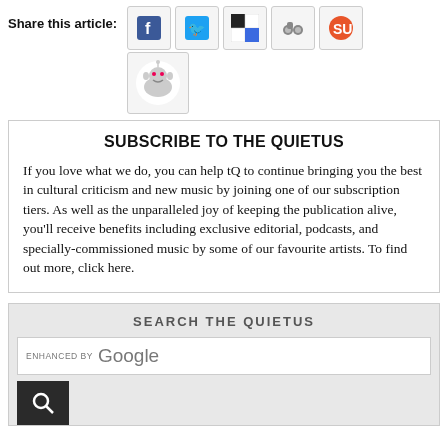Share this article:
[Figure (infographic): Social media sharing icons: Facebook, Twitter, Delicious, MySpace, StumbleUpon, Reddit]
SUBSCRIBE TO THE QUIETUS
If you love what we do, you can help tQ to continue bringing you the best in cultural criticism and new music by joining one of our subscription tiers. As well as the unparalleled joy of keeping the publication alive, you'll receive benefits including exclusive editorial, podcasts, and specially-commissioned music by some of our favourite artists. To find out more, click here.
SEARCH THE QUIETUS
[Figure (screenshot): Google enhanced search input box with search button]